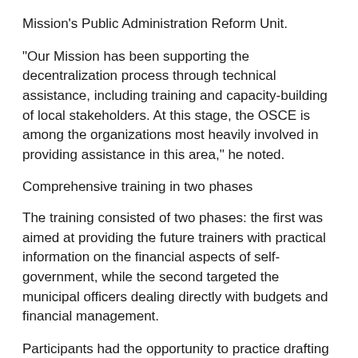Mission's Public Administration Reform Unit.
"Our Mission has been supporting the decentralization process through technical assistance, including training and capacity-building of local stakeholders. At this stage, the OSCE is among the organizations most heavily involved in providing assistance in this area," he noted.
Comprehensive training in two phases
The training consisted of two phases: the first was aimed at providing the future trainers with practical information on the financial aspects of self-government, while the second targeted the municipal officers dealing directly with budgets and financial management.
Participants had the opportunity to practice drafting a municipal budget, classifying and tracking expenses, and devising income generation activities. They were also